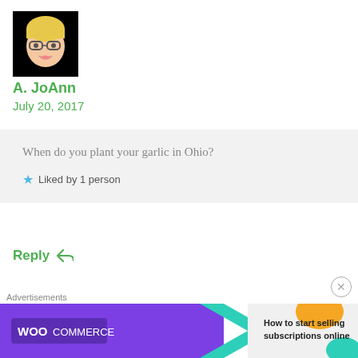[Figure (illustration): Avatar/profile image of a cartoon blonde woman with glasses on black background]
A. JoAnn
July 20, 2017
When do you plant your garlic in Ohio?
Liked by 1 person
Reply
Advertisements
[Figure (screenshot): WooCommerce ad banner: 'How to start selling subscriptions online']